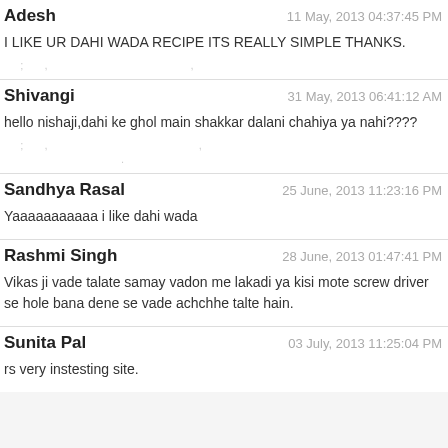Adesh — 11 May, 2013 04:37:45 PM — I LIKE UR DAHI WADA RECIPE ITS REALLY SIMPLE THANKS.
Shivangi — 31 May, 2013 06:41:12 AM — hello nishaji,dahi ke ghol main shakkar dalani chahiya ya nahi????
Sandhya Rasal — 25 June, 2013 11:23:16 PM — Yaaaaaaaaaa i like dahi wada
Rashmi Singh — 28 June, 2013 01:47:41 PM — Vikas ji vade talate samay vadon me lakadi ya kisi mote screw driver se hole bana dene se vade achchhe talte hain.
Sunita Pal — 03 July, 2013 11:25:04 PM — rs very instesting site.